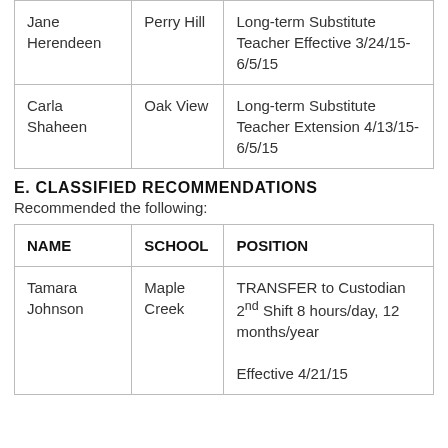| NAME | SCHOOL | POSITION |
| --- | --- | --- |
| Jane Herendeen | Perry Hill | Long-term Substitute Teacher Effective 3/24/15-6/5/15 |
| Carla Shaheen | Oak View | Long-term Substitute Teacher Extension 4/13/15-6/5/15 |
E. CLASSIFIED RECOMMENDATIONS
Recommended the following:
| NAME | SCHOOL | POSITION |
| --- | --- | --- |
| Tamara Johnson | Maple Creek | TRANSFER to Custodian 2nd Shift 8 hours/day, 12 months/year

Effective 4/21/15 |